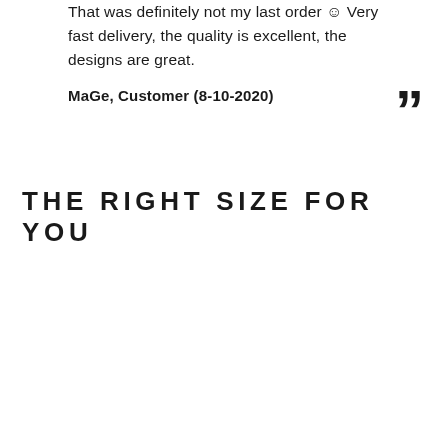Very good quality, a great gift, fast delivery!... That was definitely not my last order ☺ Very fast delivery, the quality is excellent, the designs are great.
MaGe, Customer (8-10-2020)
THE RIGHT SIZE FOR YOU